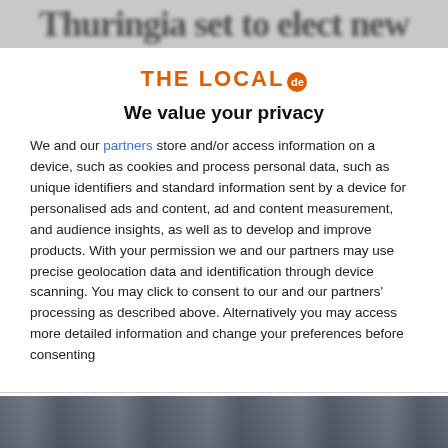Thuringia set to elect new
[Figure (logo): THE LOCAL de logo with orange text and orange circular badge]
We value your privacy
We and our partners store and/or access information on a device, such as cookies and process personal data, such as unique identifiers and standard information sent by a device for personalised ads and content, ad and content measurement, and audience insights, as well as to develop and improve products. With your permission we and our partners may use precise geolocation data and identification through device scanning. You may click to consent to our and our partners' processing as described above. Alternatively you may access more detailed information and change your preferences before consenting
ACCEPT
MORE OPTIONS
[Figure (photo): Partial photo of people at bottom of page, dark tones]